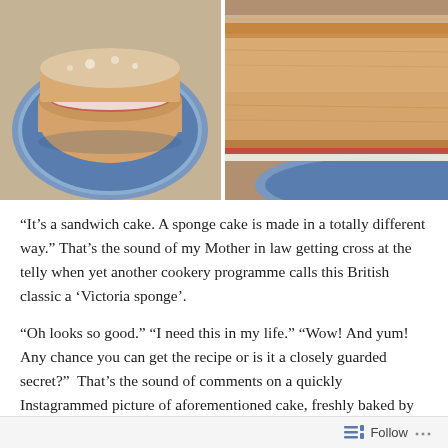[Figure (photo): Two side-by-side photos of a Victoria sandwich cake on a blue decorative plate. Left photo shows a top-down view of the whole cake dusted with icing sugar with jam and cream filling visible. Right photo is a close-up side view of the cake showing the sponge texture.]
“It’s a sandwich cake. A sponge cake is made in a totally different way.” That’s the sound of my Mother in law getting cross at the telly when yet another cookery programme calls this British classic a ‘Victoria sponge’.
“Oh looks so good.” “I need this in my life.” “Wow! And yum! Any chance you can get the recipe or is it a closely guarded secret?”  That’s the sound of comments on a quickly Instagrammed picture of aforementioned cake, freshly baked by my Mother in law, sandwiched together
Follow ...